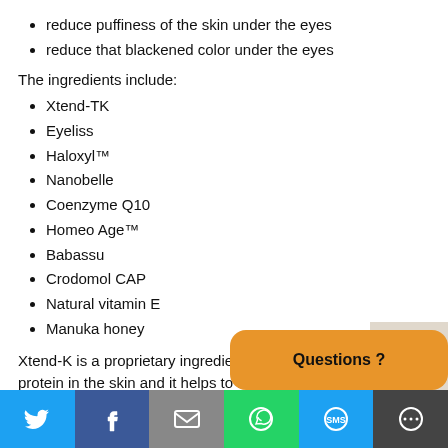reduce puffiness of the skin under the eyes
reduce that blackened color under the eyes
The ingredients include:
Xtend-TK
Eyeliss
Haloxyl™
Nanobelle
Coenzyme Q10
Homeo Age™
Babassu
Crodomol CAP
Natural vitamin E
Manuka honey
Xtend-K is a proprietary ingredient that resembles the human protein in the skin and it helps to re-build damaged skin cells.That's why even though the eye serum is a skin-care product, it has multiple dimensions that adds to the richness of this serum.
Another vital ingredient is the Eyeliss study of Eyeliss showed that 65% o...
[Figure (other): Orange rounded rectangle overlay with text 'Questions ?']
[Figure (other): Social sharing bar with Twitter, Facebook, Email, WhatsApp, SMS, and More buttons]